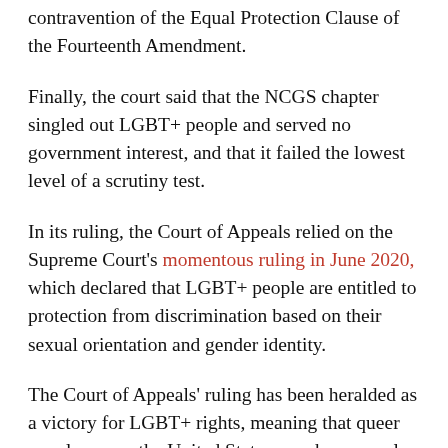contravention of the Equal Protection Clause of the Fourteenth Amendment.
Finally, the court said that the NCGS chapter singled out LGBT+ people and served no government interest, and that it failed the lowest level of a scrutiny test.
In its ruling, the Court of Appeals relied on the Supreme Court's momentous ruling in June 2020, which declared that LGBT+ people are entitled to protection from discrimination based on their sexual orientation and gender identity.
The Court of Appeals' ruling has been heralded as a victory for LGBT+ rights, meaning that queer people across the United States now have equal protection